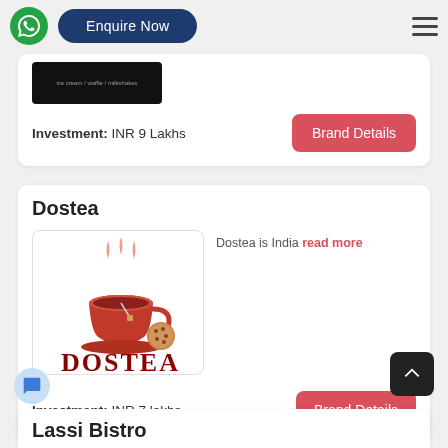Enquire Now
Investment: INR 9 Lakhs
Brand Details
Dostea
[Figure (logo): Dostea logo: red tea cup with steam and cookies, text DOSTEA in dark red]
Dostea is India read more
Investment: INR 7 lakhs
Brand Details
Lassi Bistro